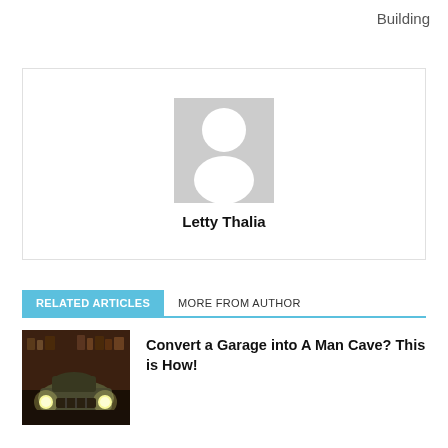Building
[Figure (illustration): Author profile card with grey placeholder avatar silhouette and name 'Letty Thalia']
Letty Thalia
RELATED ARTICLES   MORE FROM AUTHOR
[Figure (photo): Dark photo of a garage with an old vintage car with headlights on, tools on shelves in background]
Convert a Garage into A Man Cave? This is How!